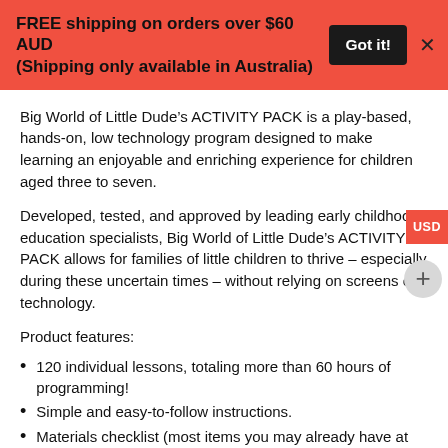FREE shipping on orders over $60 AUD (Shipping only available in Australia)
Big World of Little Dude’s ACTIVITY PACK is a play-based, hands-on, low technology program designed to make learning an enjoyable and enriching experience for children aged three to seven.
Developed, tested, and approved by leading early childhood education specialists, Big World of Little Dude’s ACTIVITY PACK allows for families of little children to thrive – especially during these uncertain times – without relying on screens or technology.
Product features:
120 individual lessons, totaling more than 60 hours of programming!
Simple and easy-to-follow instructions.
Materials checklist (most items you may already have at home.)